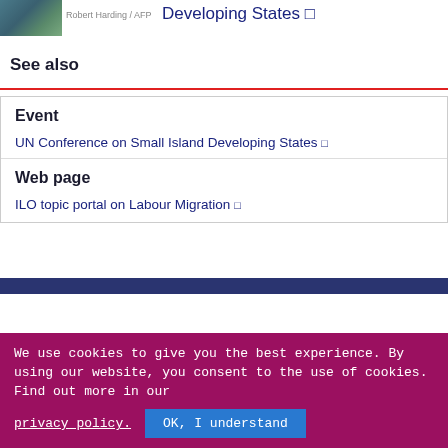[Figure (photo): Small thumbnail photo of coastal/island scene]
Robert Harding / AFP
Developing States ↗
See also
Event
UN Conference on Small Island Developing States ↗
Web page
ILO topic portal on Labour Migration ↗
We use cookies to give you the best experience. By using our website, you consent to the use of cookies. Find out more in our
privacy policy.
OK, I understand